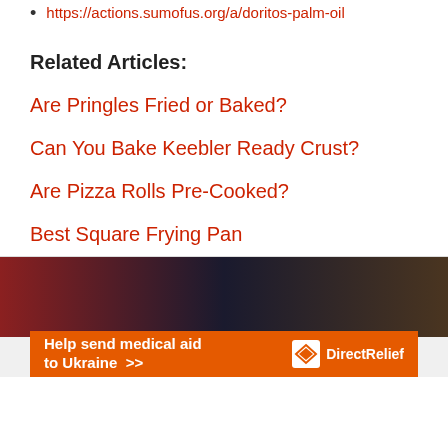https://actions.sumofus.org/a/doritos-palm-oil
Related Articles:
Are Pringles Fried or Baked?
Can You Bake Keebler Ready Crust?
Are Pizza Rolls Pre-Cooked?
Best Square Frying Pan
[Figure (photo): Partial view of food/cooking image behind an advertisement banner]
Help send medical aid to Ukraine >> DirectRelief